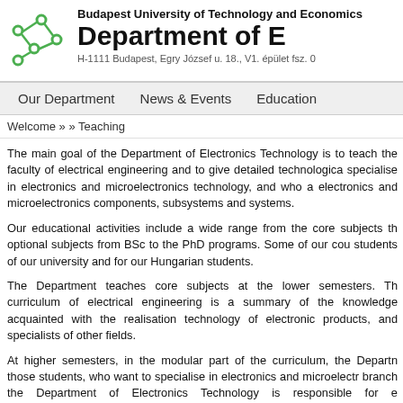[Figure (logo): Green circuit/network node logo of Budapest University of Technology and Economics]
Budapest University of Technology and Economics
Department of E
H-1111 Budapest, Egry József u. 18., V1. épület fsz. 0
Our Department   News & Events   Education
Welcome » » Teaching
The main goal of the Department of Electronics Technology is to teach the faculty of electrical engineering and to give detailed technological specialise in electronics and microelectronics technology, and who a electronics and microelectronics components, subsystems and systems.
Our educational activities include a wide range from the core subjects th optional subjects from BSc to the PhD programs. Some of our cou students of our university and for our Hungarian students.
The Department teaches core subjects at the lower semesters. Th curriculum of electrical engineering is a summary of the knowledge acquainted with the realisation technology of electronic products, and specialists of other fields.
At higher semesters, in the modular part of the curriculum, the Departn those students, who want to specialise in electronics and microelectr branch the Department of Electronics Technology is responsible for e Microelectronics" specialization, including the subjects of circuit modu systems, reliability and quality assurance. In the technical informa